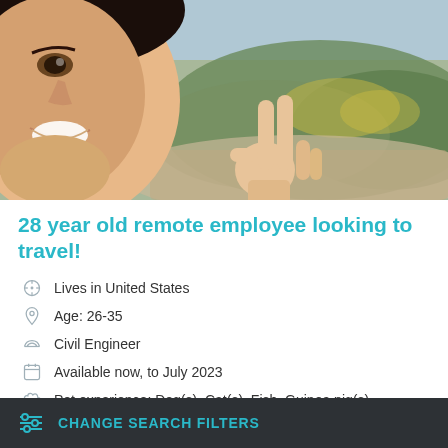[Figure (photo): Outdoor selfie of a smiling young woman making a peace sign, with hills and bushes visible in the background]
28 year old remote employee looking to travel!
Lives in United States
Age: 26-35
Civil Engineer
Available now, to July 2023
Pet experience: Dog(s), Cat(s), Fish, Guinea pig(s)
CHANGE SEARCH FILTERS